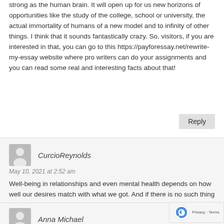strong as the human brain. It will open up for us new horizons of opportunities like the study of the college, school or university, the actual immortality of humans of a new model and to infinity of other things. I think that it sounds fantastically crazy. So, visitors, if you are interested in that, you can go to this https://payforessay.net/rewrite-my-essay website where pro writers can do your assignments and you can read some real and interesting facts about that!
Reply
CurcioReynolds
May 10, 2021 at 2:52 am
Well-being in relationships and even mental health depends on how well our desires match with what we got. And if there is no such thing in your relationship https://married-dating.org/ then you can start a relationship on the side.
Anna Michael